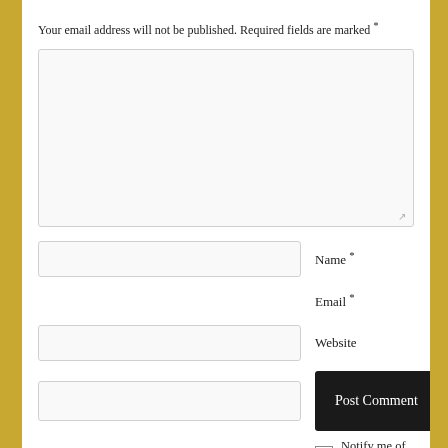Your email address will not be published. Required fields are marked *
[Figure (screenshot): Comment form with large textarea, Name field, Email field, Website field, Post Comment button, and Notify me of new comments via email checkbox]
Name *
Email *
Website
Post Comment
Notify me of new comments via email.